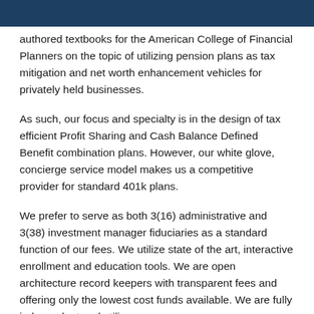authored textbooks for the American College of Financial Planners on the topic of utilizing pension plans as tax mitigation and net worth enhancement vehicles for privately held businesses.
As such, our focus and specialty is in the design of tax efficient Profit Sharing and Cash Balance Defined Benefit combination plans. However, our white glove, concierge service model makes us a competitive provider for standard 401k plans.
We prefer to serve as both 3(16) administrative and 3(38) investment manager fiduciaries as a standard function of our fees. We utilize state of the art, interactive enrollment and education tools. We are open architecture record keepers with transparent fees and offering only the lowest cost funds available. We are fully independent and utilize